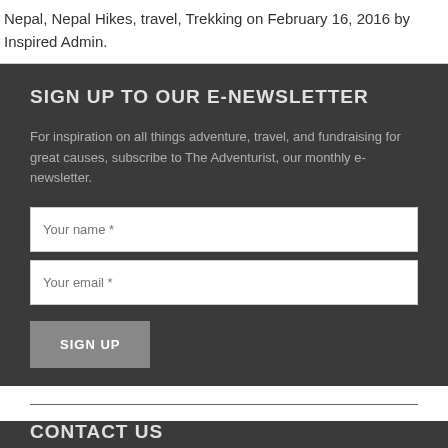Nepal, Nepal Hikes, travel, Trekking on February 16, 2016 by Inspired Admin.
SIGN UP TO OUR E-NEWSLETTER
For inspiration on all things adventure, travel, and fundraising for great causes, subscribe to The Adventurist, our monthly e-newsletter.
Your name *
Your email *
SIGN UP
CONTACT US